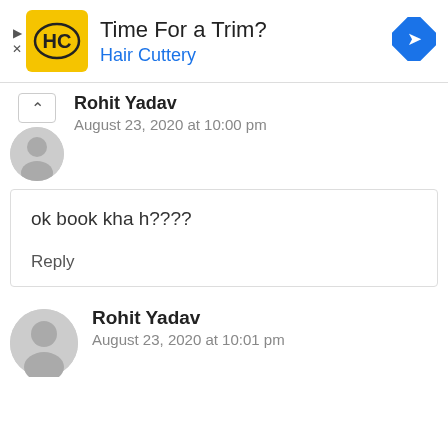[Figure (infographic): Advertisement banner for Hair Cuttery with yellow HC logo, 'Time For a Trim?' heading and Hair Cuttery in blue, with a blue navigation/direction icon on the right]
Rohit Yadav
August 23, 2020 at 10:00 pm
ok book kha h????
Reply
Rohit Yadav
August 23, 2020 at 10:01 pm